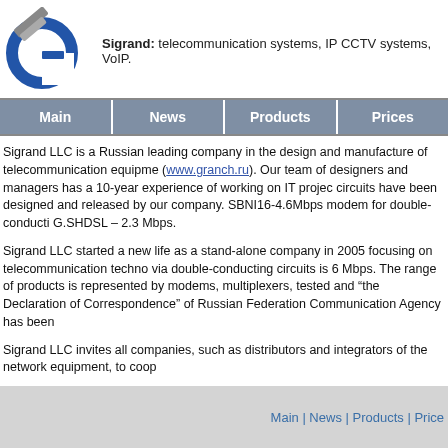[Figure (logo): Sigrand company logo: stylized letter G in blue circle with grey metallic accents]
Sigrand: telecommunication systems, IP CCTV systems, VoIP.
| Main | News | Products | Prices |
| --- | --- | --- | --- |
Sigrand LLC is a Russian leading company in the design and manufacture of telecommunication equipment (www.granch.ru). Our team of designers and managers has a 10-year experience of working on IT projects. circuits have been designed and released by our company. SBNI16-4.6Mbps modem for double-conducting G.SHDSL – 2.3 Mbps.
Sigrand LLC started a new life as a stand-alone company in 2005 focusing on telecommunication technologies. via double-conducting circuits is 6 Mbps. The range of products is represented by modems, multiplexers, tested and “the Declaration of Correspondence” of Russian Federation Communication Agency has been
Sigrand LLC invites all companies, such as distributors and integrators of the network equipment, to coop
We would be pleased to work with you in a close cooperation and adapt the manufacturing articles to the
Main | News | Products | Price